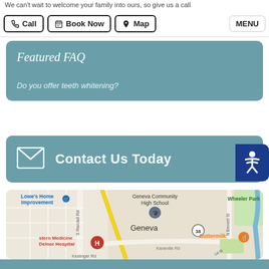We can't wait to welcome your family into ours, so give us a call
Call | Book Now | Map | MENU
Featured FAQ
Do you offer teeth whitening?
Contact Us Today
[Figure (map): Google map showing Geneva area with landmarks: Lowe's Home Improvement, Geneva Community High School, Wheeler Park, Western Medicine Delnor Hospital, Buttermilk restaurant, roads including S Randall Rd, Kaneville Rd, N Bennett St, route 38]